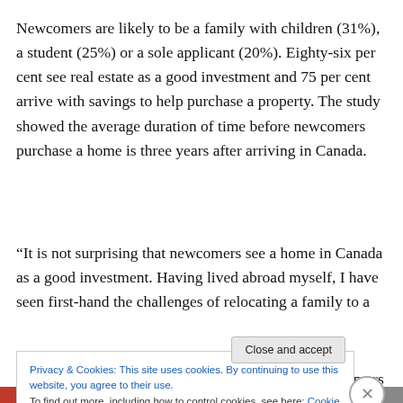Newcomers are likely to be a family with children (31%), a student (25%) or a sole applicant (20%). Eighty-six per cent see real estate as a good investment and 75 per cent arrive with savings to help purchase a property. The study showed the average duration of time before newcomers purchase a home is three years after arriving in Canada.
“It is not surprising that newcomers see a home in Canada as a good investment. Having lived abroad myself, I have seen first-hand the challenges of relocating a family to a new world. It takes courage and commitment. Newcomers
Privacy & Cookies: This site uses cookies. By continuing to use this website, you agree to their use.
To find out more, including how to control cookies, see here: Cookie Policy